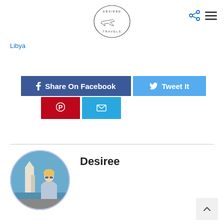[Figure (logo): Desiree Travels oval logo with airplane illustration]
[Figure (infographic): Share/hamburger nav icons top right]
Libya
[Figure (infographic): Social share buttons: Share On Facebook, Tweet It, Pinterest, Email]
[Figure (photo): Circular author profile photo of Desiree, a blonde woman sitting outdoors near water with a mosque in background]
Desiree